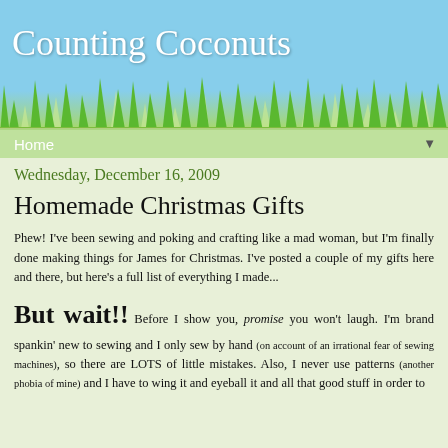Counting Coconuts
[Figure (illustration): Green grass silhouette illustration at the bottom of the sky-blue header, with tall grass blades in the foreground and lighter grass in the background]
Home
Wednesday, December 16, 2009
Homemade Christmas Gifts
Phew! I've been sewing and poking and crafting like a mad woman, but I'm finally done making things for James for Christmas. I've posted a couple of my gifts here and there, but here's a full list of everything I made...
But wait!! Before I show you, promise you won't laugh. I'm brand spankin' new to sewing and I only sew by hand (on account of an irrational fear of sewing machines), so there are LOTS of little mistakes. Also, I never use patterns (another phobia of mine) and I have to wing it and eyeball it and all that good stuff in order to